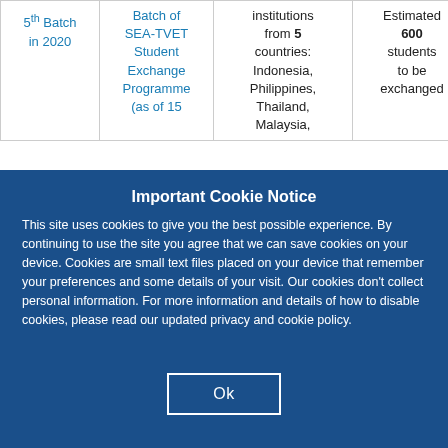|  | Batch of SEA-TVET Student Exchange Programme (as of 15 ...) | institutions from 5 countries: Indonesia, Philippines, Thailand, Malaysia, ... | Estimated 600 students to be exchanged | Mar- Se... 2020 |
| --- | --- | --- | --- | --- |
| 5th Batch in 2020 | Batch of SEA-TVET Student Exchange Programme (as of 15 | institutions from 5 countries: Indonesia, Philippines, Thailand, Malaysia, | Estimated 600 students to be exchanged | Mar- Se 2020 |
Important Cookie Notice
This site uses cookies to give you the best possible experience. By continuing to use the site you agree that we can save cookies on your device. Cookies are small text files placed on your device that remember your preferences and some details of your visit. Our cookies don't collect personal information. For more information and details of how to disable cookies, please read our updated privacy and cookie policy.
Ok